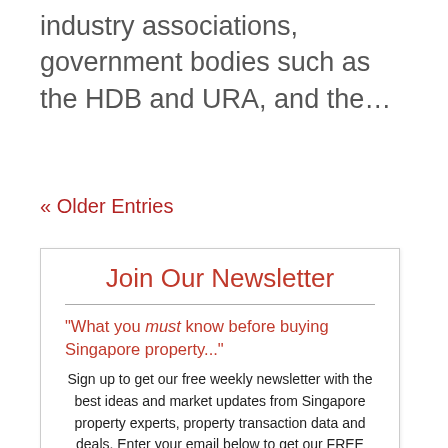industry associations, government bodies such as the HDB and URA, and the…
« Older Entries
Join Our Newsletter
“What you must know before buying Singapore property...”
Sign up to get our free weekly newsletter with the best ideas and market updates from Singapore property experts, property transaction data and deals. Enter your email below to get our FREE Beginner's Guide and Property Buyer's Checklist as a bonus. Save